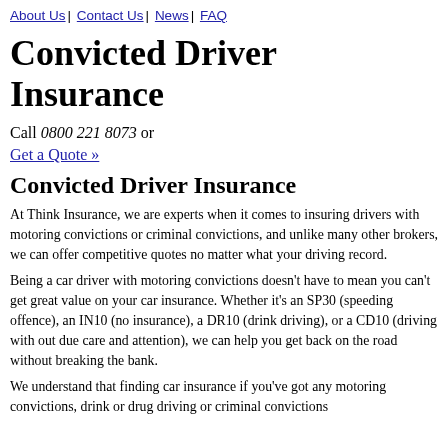About Us | Contact Us | News | FAQ
Convicted Driver Insurance
Call 0800 221 8073 or
Get a Quote »
Convicted Driver Insurance
At Think Insurance, we are experts when it comes to insuring drivers with motoring convictions or criminal convictions, and unlike many other brokers, we can offer competitive quotes no matter what your driving record.
Being a car driver with motoring convictions doesn't have to mean you can't get great value on your car insurance. Whether it's an SP30 (speeding offence), an IN10 (no insurance), a DR10 (drink driving), or a CD10 (driving with out due care and attention), we can help you get back on the road without breaking the bank.
We understand that finding car insurance if you've got any motoring convictions, drink or drug driving or criminal convictions